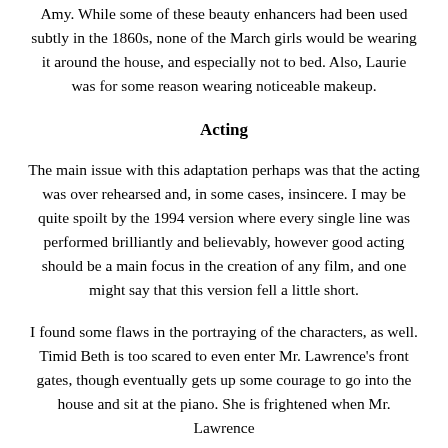Amy. While some of these beauty enhancers had been used subtly in the 1860s, none of the March girls would be wearing it around the house, and especially not to bed. Also, Laurie was for some reason wearing noticeable makeup.
Acting
The main issue with this adaptation perhaps was that the acting was over rehearsed and, in some cases, insincere. I may be quite spoilt by the 1994 version where every single line was performed brilliantly and believably, however good acting should be a main focus in the creation of any film, and one might say that this version fell a little short.
I found some flaws in the portraying of the characters, as well. Timid Beth is too scared to even enter Mr. Lawrence's front gates, though eventually gets up some courage to go into the house and sit at the piano. She is frightened when Mr. Lawrence